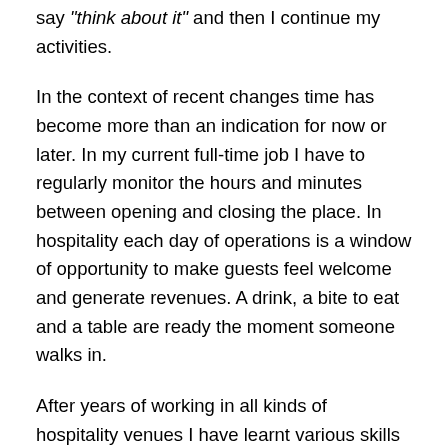say "think about it" and then I continue my activities.
In the context of recent changes time has become more than an indication for now or later. In my current full-time job I have to regularly monitor the hours and minutes between opening and closing the place. In hospitality each day of operations is a window of opportunity to make guests feel welcome and generate revenues. A drink, a bite to eat and a table are ready the moment someone walks in.
After years of working in all kinds of hospitality venues I have learnt various skills to make guests stay or leave. I also had to learn how to plan, schedule and check while doing regular rounds. Combine people skills with planning and scheduling and you become very busy. Some people are great at it. Some people learn as they adapt.